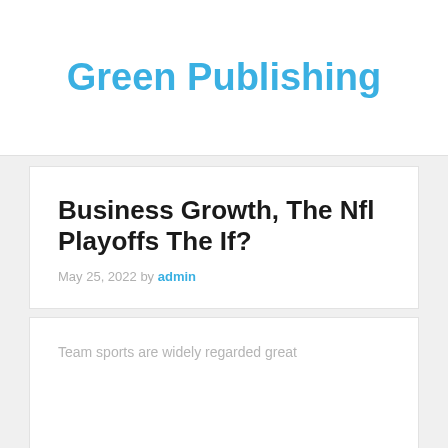Green Publishing
Business Growth, The Nfl Playoffs The If?
May 25, 2022 by admin
Team sports are widely regarded great